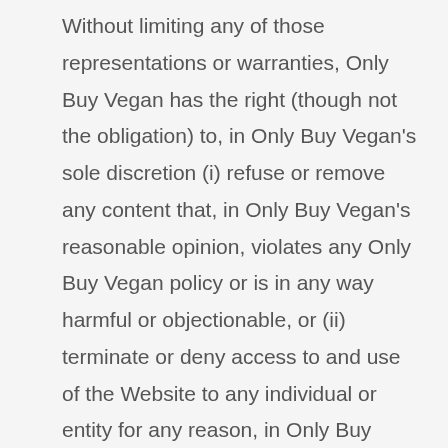Without limiting any of those representations or warranties, Only Buy Vegan has the right (though not the obligation) to, in Only Buy Vegan's sole discretion (i) refuse or remove any content that, in Only Buy Vegan's reasonable opinion, violates any Only Buy Vegan policy or is in any way harmful or objectionable, or (ii) terminate or deny access to and use of the Website to any individual or entity for any reason, in Only Buy Vegan's sole discretion. Only Buy Vegan will have no obligation to provide a refund of any amounts